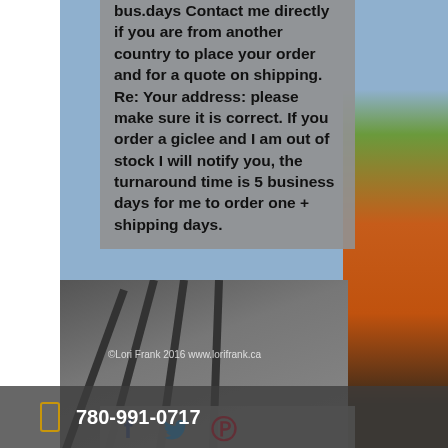bus.days Contact me directly if you are from another country to place your order and for a quote on shipping. Re: Your address: please make sure it is correct. If you order a giclee and I am out of stock I will notify you, the turnaround time is 5 business days for me to order one + shipping days.
[Figure (illustration): Social media icons: Facebook (f), Twitter (bird), Pinterest (p) on gray background]
[Figure (photo): Digital artwork of a railway bridge path curving through autumn foliage landscape with colorful trees]
©Lori Frank 2016 www.lorifrank.ca
780-991-0717